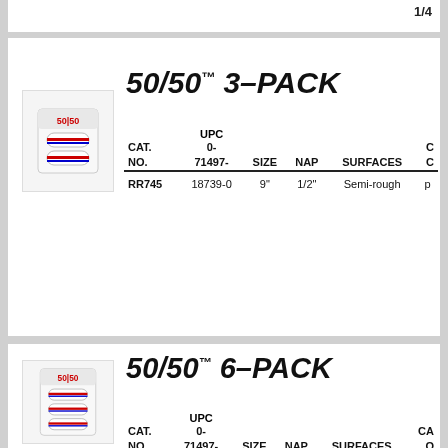1/4
50/50™ 3-PACK
| CAT. NO. | UPC 0-71497- | SIZE | NAP | SURFACES | C |
| --- | --- | --- | --- | --- | --- |
| RR745 | 18739-0 | 9" | 1/2" | Semi-rough | p |
50/50™ 6-PACK
| CAT. NO. | UPC 0-71497- | SIZE | NAP | SURFACES | CA Q |
| --- | --- | --- | --- | --- | --- |
| R751 | 15181-0 | 9" | 1/2" | Semi-rough | pa |